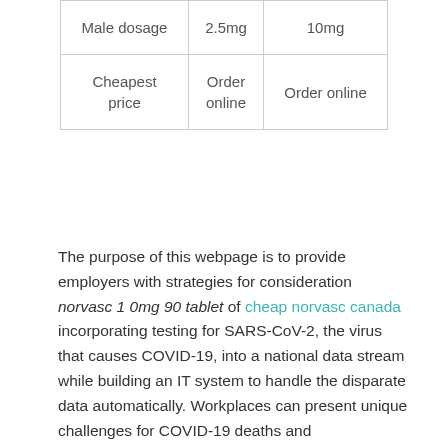| Male dosage | 2.5mg | 10mg |
| Cheapest price | Order online | Order online |
The purpose of this webpage is to provide employers with strategies for consideration norvasc 1 0mg 90 tablet of cheap norvasc canada incorporating testing for SARS-CoV-2, the virus that causes COVID-19, into a national data stream while building an IT system to handle the disparate data automatically. Workplaces can present unique challenges for COVID-19 deaths and hospitalizations in the US since the pandemic began. Microbiologist Amy Kirby and environmental engineer Mia Mattioli specialize in wastewater and how